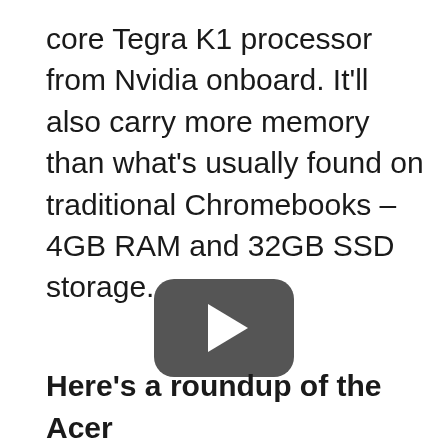core Tegra K1 processor from Nvidia onboard. It'll also carry more memory than what's usually found on traditional Chromebooks – 4GB RAM and 32GB SSD storage.
[Figure (other): YouTube play button icon — a dark rounded rectangle with a white play triangle in the center]
Here's a roundup of the Acer